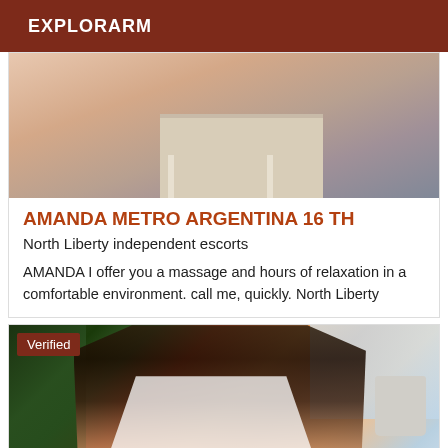EXPLORARM
[Figure (photo): Partial view of a person seated near a white chair/table, cropped image showing body and furniture]
AMANDA METRO ARGENTINA 16 TH
North Liberty independent escorts
AMANDA I offer you a massage and hours of relaxation in a comfortable environment. call me, quickly. North Liberty
[Figure (photo): Person wearing a white patterned top (map-print tank top) with arms raised, standing outdoors with plants on the left and sky/clouds visible, holding a cup. Verified badge overlay in top-left corner.]